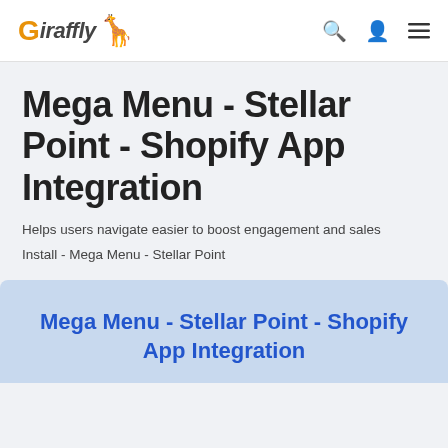Giraffly [logo with giraffe] — navigation icons: search, account, menu
Mega Menu - Stellar Point - Shopify App Integration
Helps users navigate easier to boost engagement and sales
Install - Mega Menu - Stellar Point
[Figure (screenshot): Blue card panel with title: Mega Menu - Stellar Point - Shopify App Integration in bold blue text on light blue background]